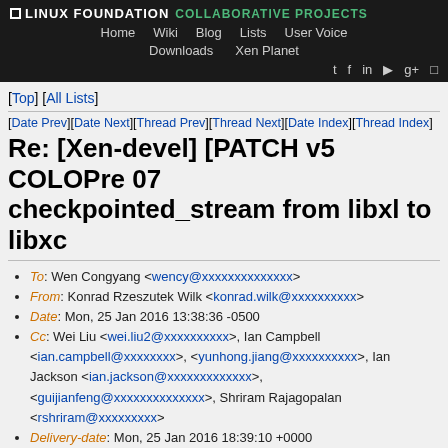LINUX FOUNDATION COLLABORATIVE PROJECTS — Home Wiki Blog Lists User Voice Downloads Xen Planet
[Top] [All Lists]
[Date Prev][Date Next][Thread Prev][Thread Next][Date Index][Thread Index]
Re: [Xen-devel] [PATCH v5 COLOPre 07 checkpointed_stream from libxl to libxc
To: Wen Congyang <wency@xxxxxxxxxxxxxx>
From: Konrad Rzeszutek Wilk <konrad.wilk@xxxxxxxxxx>
Date: Mon, 25 Jan 2016 13:38:36 -0500
Cc: Wei Liu <wei.liu2@xxxxxxxxxx>, Ian Campbell <ian.campbell@xxxxxxxx>, <yunhong.jiang@xxxxxxxxxx>, Ian Jackson <ian.jackson@xxxxxxxxxxxxx>, <guijianfeng@xxxxxxxxxxxxxx>, Shriram Rajagopalan <rshriram@xxxxxxxxx>
Delivery-date: Mon, 25 Jan 2016 18:39:10 +0000
List-id: Xen developer discussion <xen-devel.lists.xen.org>